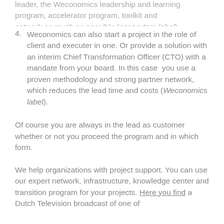leader, the Weconomics leadership and learning program, accelerator program, toolkit and network as much as possible (ecsosytem label).
4. Weconomics can also start a project in the role of client and executer in one. Or provide a solution with an interim Chief Transformation Officer (CTO) with a mandate from your board. In this case you use a proven methodology and strong partner network, which reduces the lead time and costs (Weconomics label).
Of course you are always in the lead as customer whether or not you proceed the program and in which form.
We help organizations with project support. You can use our expert network, infrastructure, knowledge center and transition program for your projects. Here you find a Dutch Television broadcast of one of